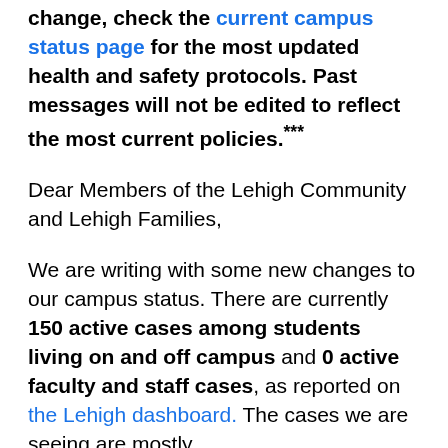change, check the current campus status page for the most updated health and safety protocols. Past messages will not be edited to reflect the most current policies.***
Dear Members of the Lehigh Community and Lehigh Families,
We are writing with some new changes to our campus status. There are currently 150 active cases among students living on and off campus and 0 active faculty and staff cases, as reported on the Lehigh dashboard. The cases we are seeing are mostly